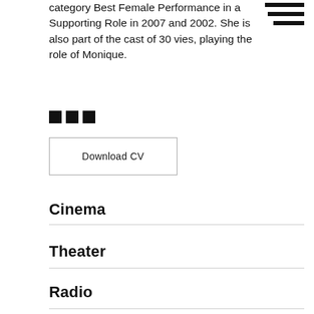category Best Female Performance in a Supporting Role in 2007 and 2002. She is also part of the cast of 30 vies, playing the role of Monique.
[Figure (other): Hamburger menu icon with three horizontal bars of decreasing width]
[Figure (other): Three small black squares in a row]
Download CV
Cinema
Theater
Radio